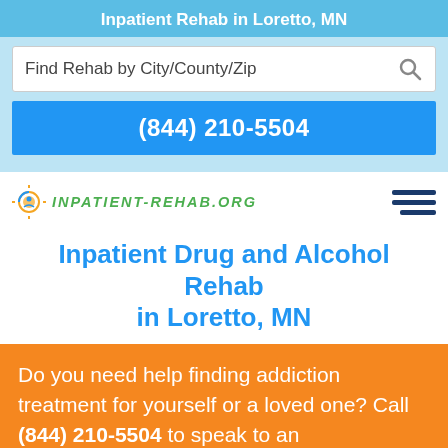Inpatient Rehab in Loretto, MN
Find Rehab by City/County/Zip
(844) 210-5504
[Figure (logo): Inpatient-Rehab.org logo with sun/circle icon and hamburger menu icon]
Inpatient Drug and Alcohol Rehab in Loretto, MN
Do you need help finding addiction treatment for yourself or a loved one? Call (844) 210-5504 to speak to an